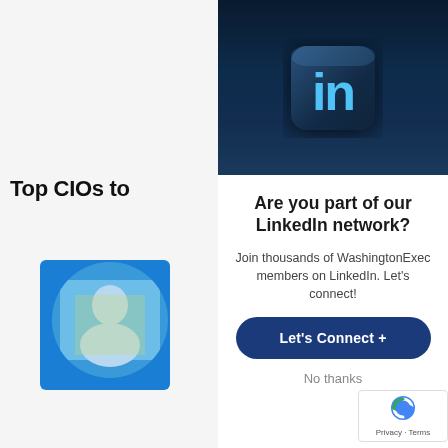[Figure (screenshot): Background page showing partial text 'Top CIOs to' and a circular profile thumbnail with blue background]
[Figure (photo): LinkedIn logo 'in' on dark navy blue background banner at top of modal]
Are you part of our LinkedIn network?
Join thousands of WashingtonExec members on LinkedIn. Let's connect!
Let's Connect +
No thanks
[Figure (logo): Google reCAPTCHA badge with Privacy and Terms links]